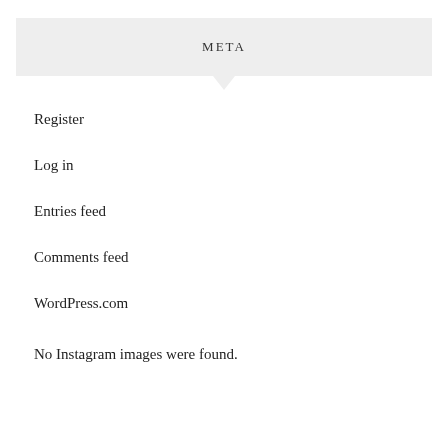META
Register
Log in
Entries feed
Comments feed
WordPress.com
No Instagram images were found.